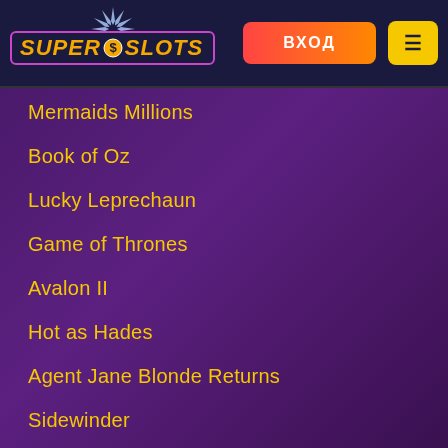[Figure (logo): Super Slots casino logo with star burst and dollar sign, purple border]
ВХОД
Mermaids Millions
Book of Oz
Lucky Leprechaun
Game of Thrones
Avalon II
Hot as Hades
Agent Jane Blonde Returns
Sidewinder
Thunderstruck